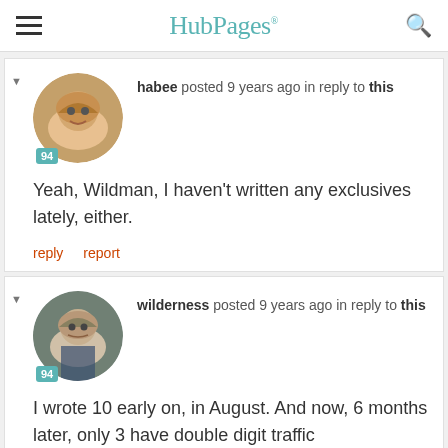HubPages
habee posted 9 years ago in reply to this
Yeah, Wildman, I haven't written any exclusives lately, either.
reply  report
wilderness posted 9 years ago in reply to this
I wrote 10 early on, in August.  And now, 6 months later, only 3 have double digit traffic